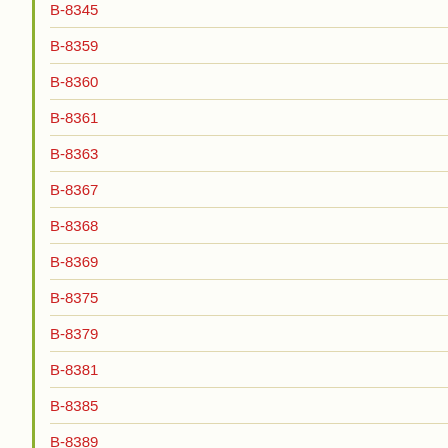B-8345
B-8359
B-8360
B-8361
B-8363
B-8367
B-8368
B-8369
B-8375
B-8379
B-8381
B-8385
B-8389
B-8390
B-8391
B-8396